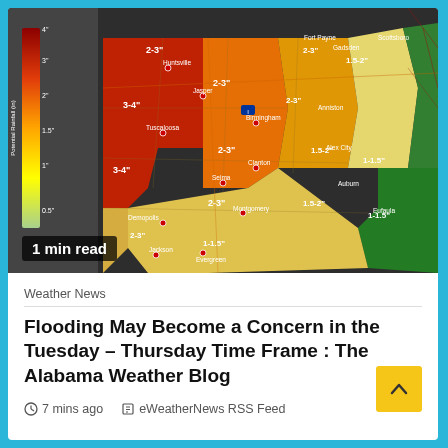[Figure (map): Alabama weather map showing potential rainfall amounts by region, with color-coded zones ranging from dark red (3-4 inches) in western Alabama to green (1-1.5 inches) in eastern Alabama. Labels include rainfall totals such as 2-3", 3-4", 1.5-2", 1-1.5" across various cities. A vertical color legend on the left side shows potential rainfall amounts.]
1 min read
Weather News
Flooding May Become a Concern in the Tuesday – Thursday Time Frame : The Alabama Weather Blog
7 mins ago   eWeatherNews RSS Feed